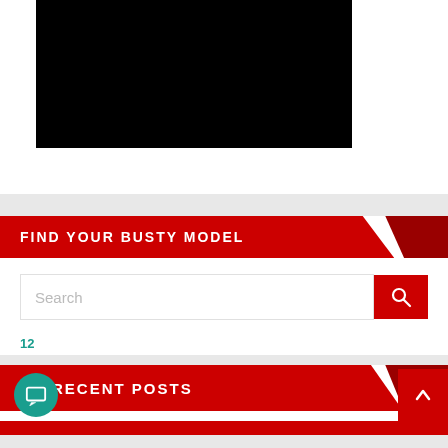[Figure (photo): Black rectangle representing a video or image placeholder]
FIND YOUR BUSTY MODEL
Search
12
RECENT POSTS